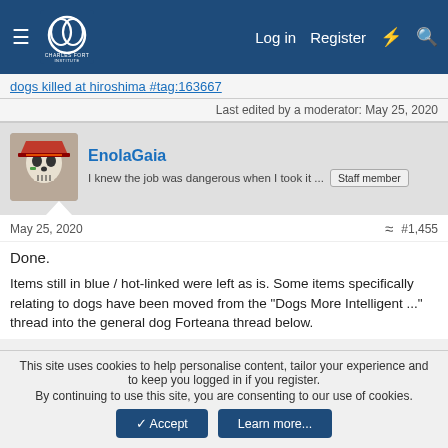Charles Fort Institute forum navigation bar with Log in, Register links
dogs killed at hiroshima #tag:163667
Last edited by a moderator: May 25, 2020
EnolaGaia
I knew the job was dangerous when I took it ... Staff member
May 25, 2020 #1,455
Done.
Items still in blue / hot-linked were left as is. Some items specifically relating to dogs have been moved from the "Dogs More Intelligent ..." thread into the general dog Forteana thread below.
This site uses cookies to help personalise content, tailor your experience and to keep you logged in if you register.
By continuing to use this site, you are consenting to our use of cookies.